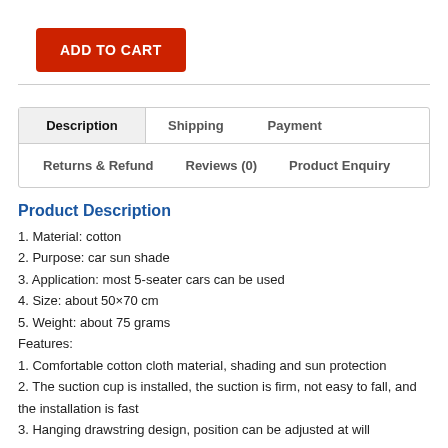ADD TO CART
Description | Shipping | Payment | Returns & Refund | Reviews (0) | Product Enquiry
Product Description
1. Material: cotton
2. Purpose: car sun shade
3. Application: most 5-seater cars can be used
4. Size: about 50×70 cm
5. Weight: about 75 grams
Features:
1. Comfortable cotton cloth material, shading and sun protection
2. The suction cup is installed, the suction is firm, not easy to fall, and the installation is fast
3. Hanging drawstring design, position can be adjusted at will